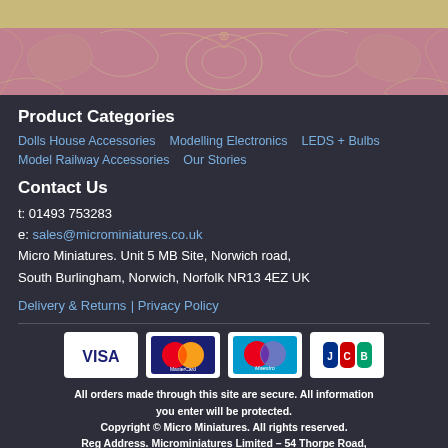[Figure (illustration): Decorative header banner with gold top bar and pink/mauve ornamental pattern with swirling motifs]
Product Categories
Dolls House Accessories    Modelling Electronics    LEDS + Bulbs
Model Railway Accessories    Our Stories
Contact Us
t: 01493 753283
e: sales@microminiatures.co.uk
Micro Miniatures. Unit 5 MB Site, Norwich road,
South Burlingham, Norwich, Norfolk NR13 4EZ UK
Delivery & Returns | Privacy Policy
[Figure (logo): Payment method logos: VISA, MasterCard, Maestro, JCB]
All orders made through this site are secure. All information you enter will be protected.
Copyright © Micro Miniatures. All rights reserved.
Reg Address. Microminiatures Limited – 54 Thorpe Road, Norwich, Norfolk NR1 1RY, United Kingdom – Reg No. 10063391